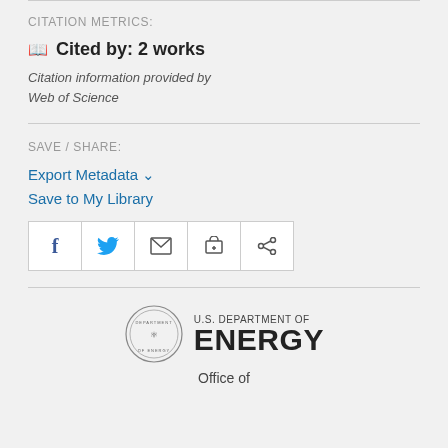CITATION METRICS:
📖 Cited by: 2 works
Citation information provided by Web of Science
SAVE / SHARE:
Export Metadata ˅
Save to My Library
[Figure (other): Social sharing buttons: Facebook (f), Twitter (bird), Email (envelope), Print (printer), Share (<) icons in a horizontal bar]
[Figure (logo): U.S. Department of Energy seal and ENERGY wordmark logo with text 'Office of']